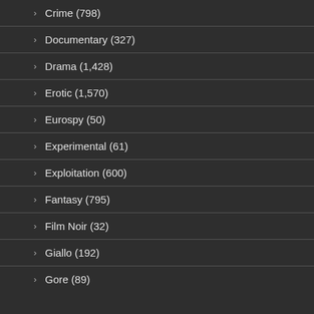Crime (798)
Documentary (327)
Drama (1,428)
Erotic (1,570)
Eurospy (50)
Experimental (61)
Exploitation (600)
Fantasy (795)
Film Noir (32)
Giallo (192)
Gore (89)